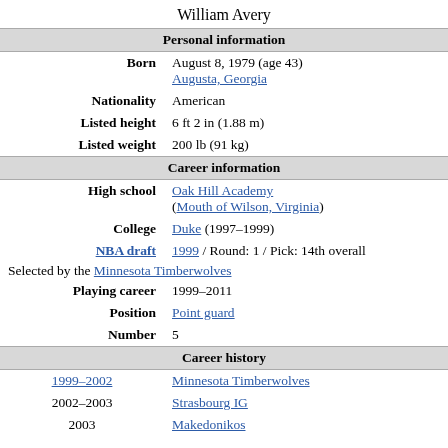William Avery
| Personal information |  |
| Born | August 8, 1979 (age 43)
Augusta, Georgia |
| Nationality | American |
| Listed height | 6 ft 2 in (1.88 m) |
| Listed weight | 200 lb (91 kg) |
| Career information |  |
| High school | Oak Hill Academy (Mouth of Wilson, Virginia) |
| College | Duke (1997–1999) |
| NBA draft | 1999 / Round: 1 / Pick: 14th overall
Selected by the Minnesota Timberwolves |
| Playing career | 1999–2011 |
| Position | Point guard |
| Number | 5 |
| Career history |  |
| 1999–2002 | Minnesota Timberwolves |
| 2002–2003 | Strasbourg IG |
| 2003 | Makedonikos |